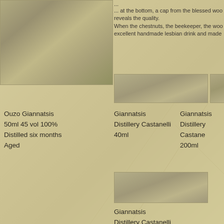[Figure (photo): Grainy aged photo top-left, nature/landscape scene]
...
... at the bottom, a cap from the blessed woo reveals the quality.
When the chestnuts, the beekeeper, the woo excellent handmade lesbian drink and made
[Figure (photo): Aged photo strip top-middle]
[Figure (photo): Aged photo strip top-right (partially visible)]
Ouzo Giannatsis
50ml 45 vol 100%
Distilled six months
Aged
Giannatsis
Distillery Castanelli
40ml
Giannatsis
Distillery Castane
200ml
[Figure (photo): Aged photo strip bottom-middle]
Giannatsis
Distillery Castanelli